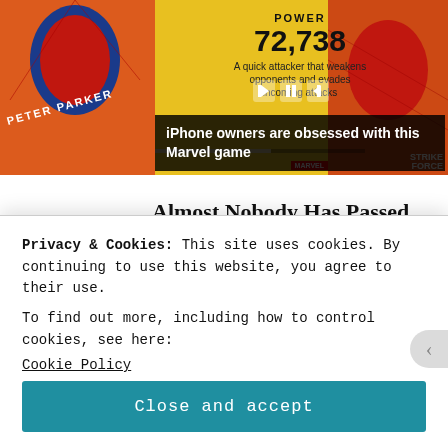[Figure (screenshot): Marvel Strike Force game advertisement banner showing Peter Parker / Spider-Man with power 72,738 stat and description 'A quick attacker that weakens opponents and evades incoming attacks'. Includes media player controls.]
iPhone owners are obsessed with this Marvel game
[Figure (illustration): Illustration of an elderly woman with white curly hair wearing a dark cowboy hat, resembling a classic logo mascot (likely Quaker Oats).]
Almost Nobody Has Passed This Classic Logo Quiz
Privacy & Cookies: This site uses cookies. By continuing to use this website, you agree to their use.
To find out more, including how to control cookies, see here:
Cookie Policy
Close and accept